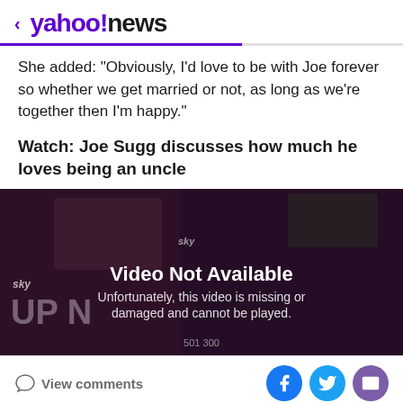< yahoo!news
She added: "Obviously, I'd love to be with Joe forever so whether we get married or not, as long as we're together then I'm happy."
Watch: Joe Sugg discusses how much he loves being an uncle
[Figure (screenshot): Video player showing 'Video Not Available' message. Text reads: 'Unfortunately, this video is missing or damaged and cannot be played.' Timecode shown: 501 300. Sky logo visible.]
View comments